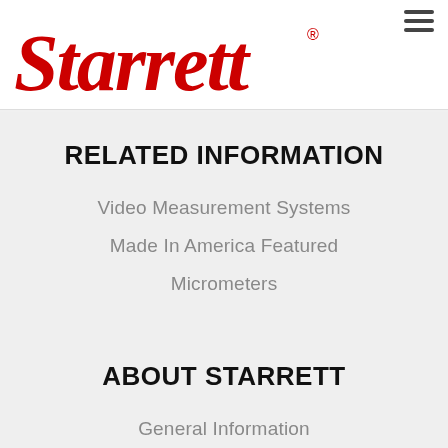[Figure (logo): Starrett logo in red cursive lettering with registered trademark symbol]
RELATED INFORMATION
Video Measurement Systems
Made In America Featured
Micrometers
ABOUT STARRETT
General Information
Company Profile